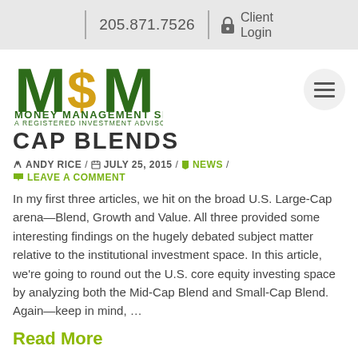205.871.7526 | Client Login
[Figure (logo): MSM Money Management Services, Inc. logo — green block letters M$M with gold dollar sign, subtitle 'MONEY MANAGEMENT SERVICES, INC. / A REGISTERED INVESTMENT ADVISORY FIRM']
CAP BLENDS
ANDY RICE / JULY 25, 2015 / NEWS / LEAVE A COMMENT
In my first three articles, we hit on the broad U.S. Large-Cap arena—Blend, Growth and Value. All three provided some interesting findings on the hugely debated subject matter relative to the institutional investment space. In this article, we're going to round out the U.S. core equity investing space by analyzing both the Mid-Cap Blend and Small-Cap Blend. Again—keep in mind, …
Read More